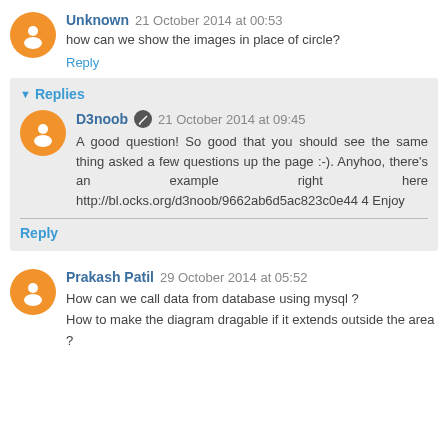Unknown  21 October 2014 at 00:53
how can we show the images in place of circle?
Reply
Replies
D3noob  21 October 2014 at 09:45
A good question! So good that you should see the same thing asked a few questions up the page :-). Anyhoo, there's an example right here http://bl.ocks.org/d3noob/9662ab6d5ac823c0e444 Enjoy
Reply
Prakash Patil  29 October 2014 at 05:52
How can we call data from database using mysql ?
How to make the diagram dragable if it extends outside the area ?